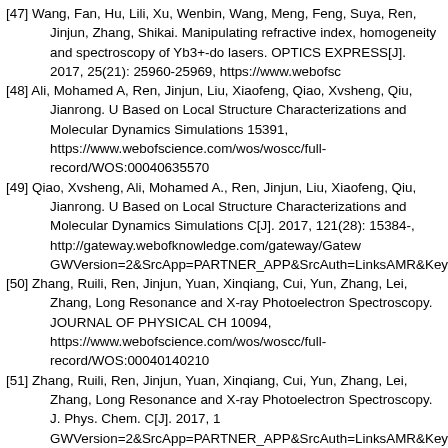[47] Wang, Fan, Hu, Lili, Xu, Wenbin, Wang, Meng, Feng, Suya, Ren, Jinjun, Zhang, Shikai. Manipulating refractive index, homogeneity and spectroscopy of Yb3+-do lasers. OPTICS EXPRESS[J]. 2017, 25(21): 25960-25969, https://www.webofsc
[48] Ali, Mohamed A, Ren, Jinjun, Liu, Xiaofeng, Qiao, Xvsheng, Qiu, Jianrong. U Based on Local Structure Characterizations and Molecular Dynamics Simulations 15391, https://www.webofscience.com/wos/woscc/full-record/WOS:00040635570
[49] Qiao, Xvsheng, Ali, Mohamed A., Ren, Jinjun, Liu, Xiaofeng, Qiu, Jianrong. U Based on Local Structure Characterizations and Molecular Dynamics Simulations C[J]. 2017, 121(28): 15384-, http://gateway.webofknowledge.com/gateway/Gatew GWVersion=2&SrcApp=PARTNER_APP&SrcAuth=LinksAMR&KeyUT=WOS:00
[50] Zhang, Ruili, Ren, Jinjun, Yuan, Xinqiang, Cui, Yun, Zhang, Lei, Zhang, Long Resonance and X-ray Photoelectron Spectroscopy. JOURNAL OF PHYSICAL CH 10094, https://www.webofscience.com/wos/woscc/full-record/WOS:00040140210
[51] Zhang, Ruili, Ren, Jinjun, Yuan, Xinqiang, Cui, Yun, Zhang, Lei, Zhang, Long Resonance and X-ray Photoelectron Spectroscopy. J. Phys. Chem. C[J]. 2017, 1 GWVersion=2&SrcApp=PARTNER_APP&SrcAuth=LinksAMR&KeyUT=WOS:00
[52] Wang, Xin, Munoz, Franscico, He, Dongbing, Ding, Yajun, Ren, Jinjun, Chen doped P2O5-Al2O3-Li2O-MgO-Sb2O3 glasses. JOURNAL OF ALLOYS AND CO
[53] Zhang, Ruili, Ren, Jinjun, Yang, Mingshun. Novel gallium-doped amorphous Cryst. Solids[J]. 2017, 466: 15-, http://gateway.webofknowledge.com/gateway/Ga GWVersion=2&SrcApp=PARTNER_APP&SrcAuth=LinksAMR&KeyUT=WOS:00
[54] Wang, Fan, Hu, Lili, Xu, Wenbin, Wang, Meng, Feng, Suya, Ren, Jinjun, Zha Shikai. Manipulating refractive index, homogeneity and spectroscopy of Yb3+-do